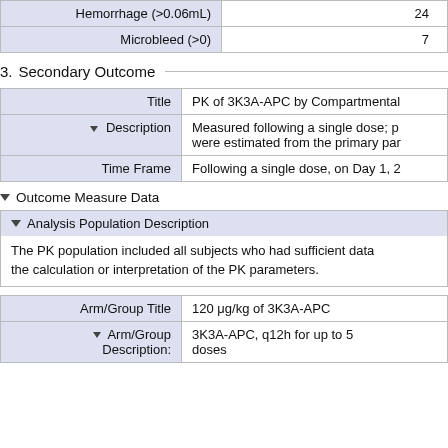|  |  |
| --- | --- |
| Hemorrhage (>0.06mL) | 24 |
| Microbleed (>0) | 7 |
3.  Secondary Outcome
| Title | Description | Time Frame |
| --- | --- | --- |
| Title | PK of 3K3A-APC by Compartmental |
| ▼ Description | Measured following a single dose; p were estimated from the primary par |
| Time Frame | Following a single dose, on Day 1, 2 |
▼ Outcome Measure Data
▼ Analysis Population Description
The PK population included all subjects who had sufficient data the calculation or interpretation of the PK parameters.
| Arm/Group Title | 120 μg/kg of 3K3A-APC |
| --- | --- |
| Arm/Group Title | 120 μg/kg of 3K3A-APC |
| ▼ Arm/Group Description: | 3K3A-APC, q12h for up to 5 doses |